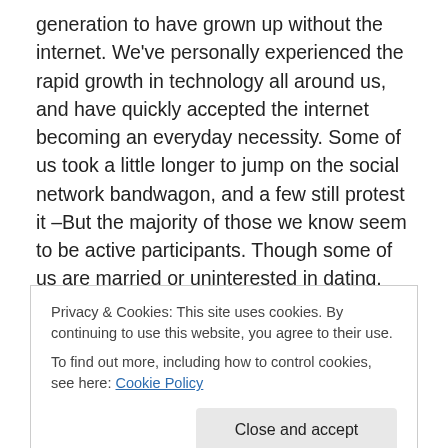generation to have grown up without the internet. We've personally experienced the rapid growth in technology all around us, and have quickly accepted the internet becoming an everyday necessity. Some of us took a little longer to jump on the social network bandwagon, and a few still protest it –But the majority of those we know seem to be active participants. Though some of us are married or uninterested in dating, many of us are going through boyfriends and girlfriends left and right. –And so we find that the social norms of dating and social networking have some uncomfortable overlaps.
Privacy & Cookies: This site uses cookies. By continuing to use this website, you agree to their use.
To find out more, including how to control cookies, see here: Cookie Policy
because I'm lazy or anything, or because I don't want to